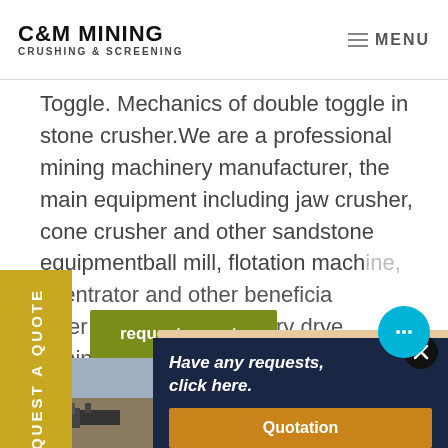C&M MINING CRUSHING & SCREENING | MENU
Toggle. Mechanics of double toggle in stone crusher. We are a professional mining machinery manufacturer, the main equipment including jaw crusher, cone crusher and other sandstone equipmentball mill, flotation machine, concentrator and other beneficiation powder grinding plant, rotary dryer machine, ...
REQUEST A QUOTE
request a quote
[Figure (photo): Customer service representative (woman with headset) smiling, overlaid on page]
Have any requests, click here.
Quotation
[Figure (photo): Aerial/landscape photo of mining site with crushing and screening equipment in a rocky terrain]